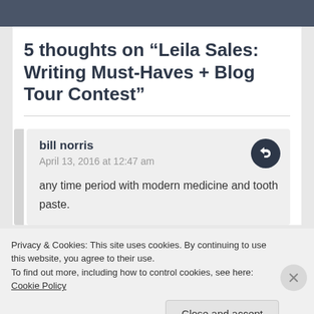5 thoughts on “Leila Sales: Writing Must-Haves + Blog Tour Contest”
bill norris
April 13, 2016 at 12:47 am

any time period with modern medicine and tooth paste.
Privacy & Cookies: This site uses cookies. By continuing to use this website, you agree to their use.
To find out more, including how to control cookies, see here: Cookie Policy
Close and accept